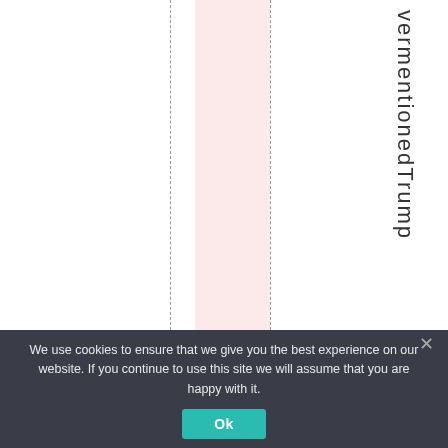[Figure (other): Webpage layout showing vertical columns with dashed lines, a pink highlighted column, and vertical text reading 'vermentionedTrump' on the right side.]
We use cookies to ensure that we give you the best experience on our website. If you continue to use this site we will assume that you are happy with it.
Ok